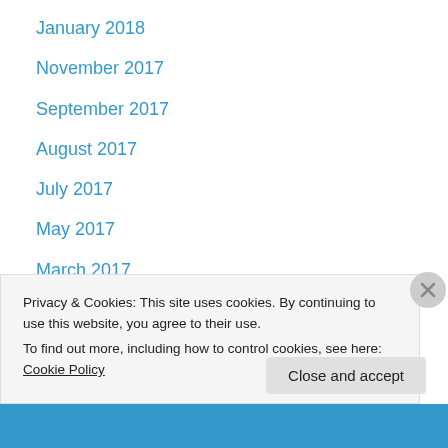January 2018
November 2017
September 2017
August 2017
July 2017
May 2017
March 2017
February 2017
December 2016
November 2016
October 2016
August 2016
July 2016
Privacy & Cookies: This site uses cookies. By continuing to use this website, you agree to their use.
To find out more, including how to control cookies, see here: Cookie Policy
Close and accept